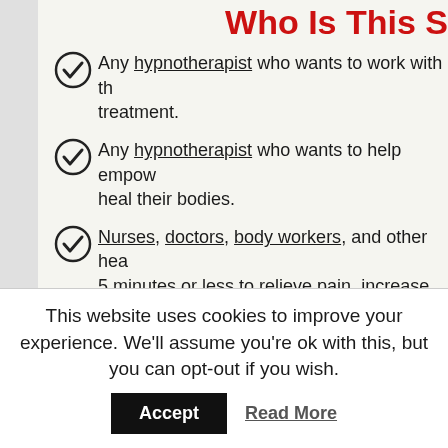Who Is This S
Any hypnotherapist who wants to work with the treatment.
Any hypnotherapist who wants to help empower heal their bodies.
Nurses, doctors, body workers, and other hea 5 minutes or less to relieve pain, increase mo clients.
Anyone in pain from a chronic illness or injury
Any hypnotherapist who is ready to expand th
This website uses cookies to improve your experience. We'll assume you're ok with this, but you can opt-out if you wish.
Accept  Read More